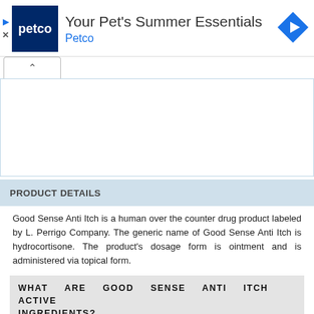[Figure (screenshot): Petco advertisement banner: Petco logo (white text on dark blue square), headline 'Your Pet's Summer Essentials', subheading 'Petco' in blue, and a blue diamond navigation arrow on the right. Small play and close icons on the left edge.]
[Figure (screenshot): Collapsed browser tab with upward chevron arrow, white background with light blue border.]
PRODUCT DETAILS
Good Sense Anti Itch is a human over the counter drug product labeled by L. Perrigo Company. The generic name of Good Sense Anti Itch is hydrocortisone. The product's dosage form is ointment and is administered via topical form.
WHAT ARE GOOD SENSE ANTI ITCH ACTIVE INGREDIENTS?